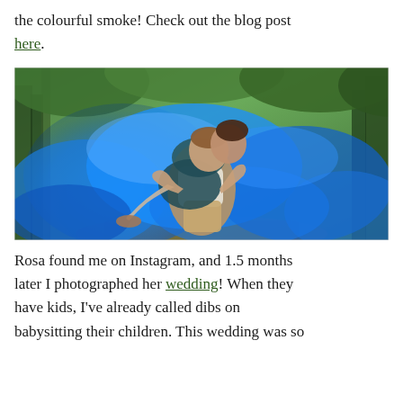the colourful smoke! Check out the blog post here.
[Figure (photo): A man carrying a woman in his arms in a forest setting, surrounded by vibrant blue coloured smoke. The couple appears to be in a romantic pose, looking at each other. Trees are visible in the background.]
Rosa found me on Instagram, and 1.5 months later I photographed her wedding! When they have kids, I've already called dibs on babysitting their children. This wedding was so